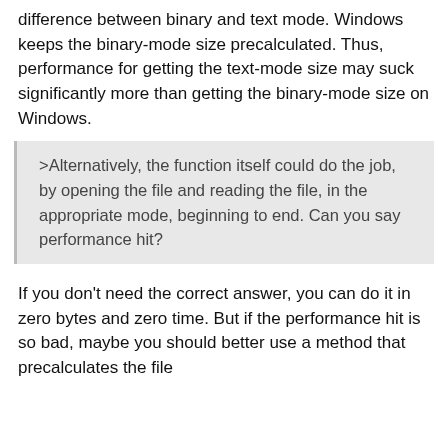difference between binary and text mode. Windows keeps the binary-mode size precalculated. Thus, performance for getting the text-mode size may suck significantly more than getting the binary-mode size on Windows.
>Alternatively, the function itself could do the job, by opening the file and reading the file, in the appropriate mode, beginning to end. Can you say performance hit?
If you don't need the correct answer, you can do it in zero bytes and zero time. But if the performance hit is so bad, maybe you should better use a method that precalculates the file